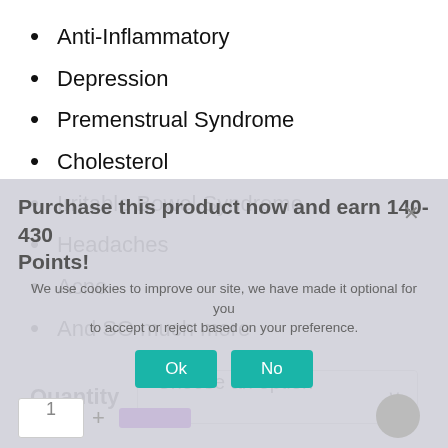Anti-Inflammatory
Depression
Premenstrual Syndrome
Cholesterol
Irritable Bowel Syndrome
Headaches
Acne
And SO much more
Quantity  Choose an option
Purchase this product now and earn 140-430 Points!
We use cookies to improve our site, we have made it optional for you to accept or reject based on your preference.